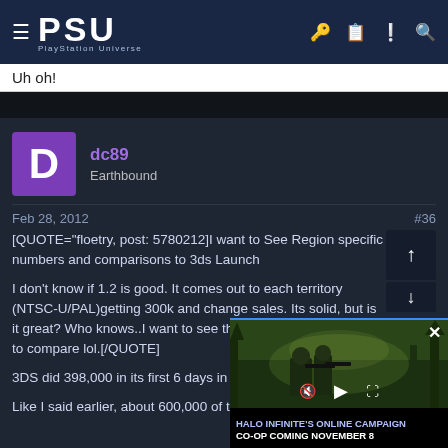PSU — PlayStation Universe
Uh oh!
dc89
Earthbound
Feb 28, 2012    #36
[QUOTE="floetry, post: 5780212]I want to See Region specific numbers and comparisons to 3ds Launch

I don't know if 1.2 is good. It comes out to each territory (NTSC-U/PAL)getting 300k and change sales. Its solid, but is it great? Who knows..I want to see those numbers of the 3ds to compare lol.[/QUOTE]

3DS did 398,000 in its first 6 days in the U... was poor too.

Like I said earlier, about 600,000 of those and UK
[Figure (screenshot): Halo Infinite video overlay showing soldiers/spartans in a forest setting with playback controls. Caption reads: HALO INFINITE'S ONLINE CAMPAIGN CO-OP COMING NOVEMBER 8]